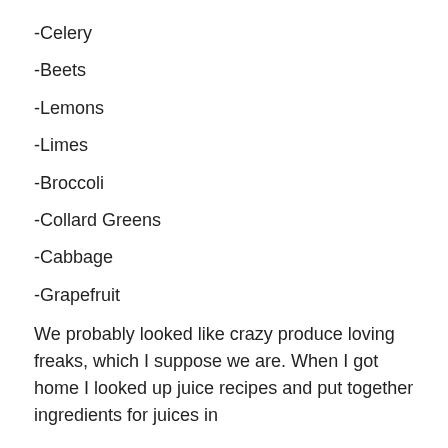-Celery
-Beets
-Lemons
-Limes
-Broccoli
-Collard Greens
-Cabbage
-Grapefruit
We probably looked like crazy produce loving freaks, which I suppose we are. When I got home I looked up juice recipes and put together ingredients for juices in